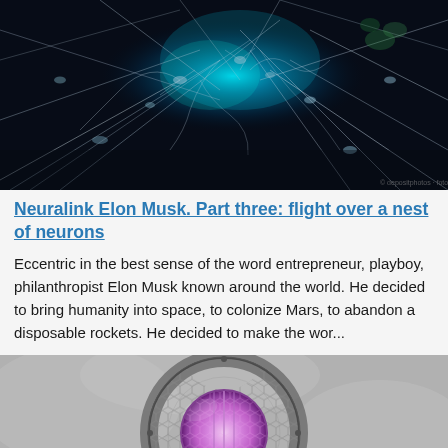[Figure (photo): Close-up illustration of glowing neural network with interconnected neurons on dark background, with teal/blue light in center]
Neuralink Elon Musk. Part three: flight over a nest of neurons
Eccentric in the best sense of the word entrepreneur, playboy, philanthropist Elon Musk known around the world. He decided to bring humanity into space, to colonize Mars, to abandon a disposable rockets. He decided to make the wor...
[Figure (photo): Close-up photograph of a circular glowing pink/purple rocket engine nozzle with honeycomb pattern, viewed head-on against gray background]